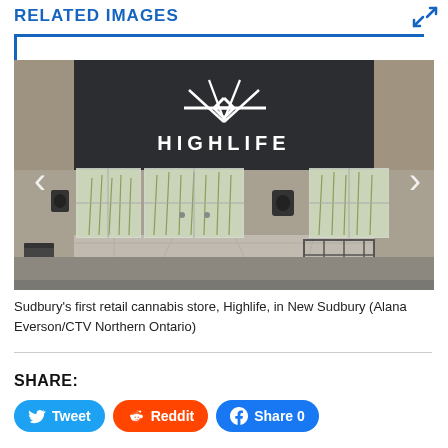RELATED IMAGES
[Figure (photo): Exterior photo of Highlife cannabis store in New Sudbury. Dark signage with Highlife logo (arrows pointing together), large glass windows with plant graphics, a bench and basket outside.]
Sudbury's first retail cannabis store, Highlife, in New Sudbury (Alana Everson/CTV Northern Ontario)
SHARE:
Tweet  Reddit  Share 0